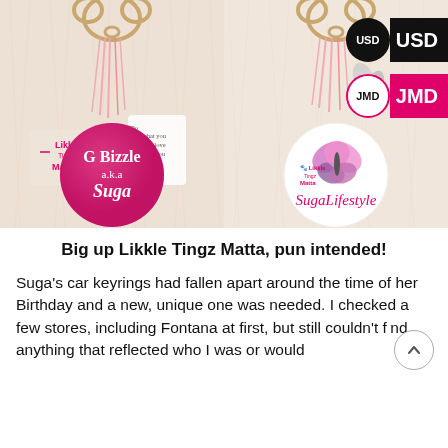[Figure (photo): Two custom keyrings on a white fluffy background. Left: a pink glittery circular keyring that reads 'G Bizzle a.k.a Suga' with a small heart charm reading 'Do what you love, love what you do', a pink tassel, and a Likkle Tingz Matta logo. Right: a white circular keyring with a butterfly and 'SugaLifestyle' in pink script, a pink tassel, and a Likkle Tingz Matta logo. Currency badges USD and JMD appear on the right side.]
Big up Likkle Tingz Matta, pun intended!
Suga's car keyrings had fallen apart around the time of her Birthday and a new, unique one was needed. I checked a few stores, including Fontana at first, but still couldn't find anything that reflected who I was or would captivate anyone about the person I'd be...